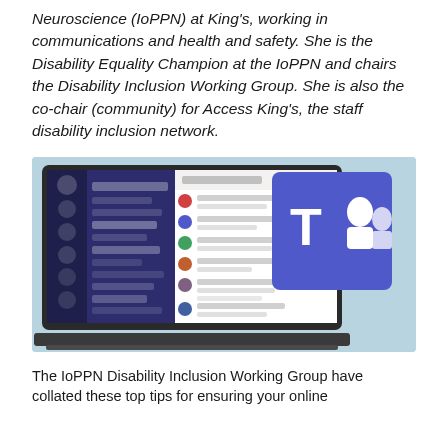Neuroscience (IoPPN) at King's, working in communications and health and safety. She is the Disability Equality Champion at the IoPPN and chairs the Disability Inclusion Working Group. She is also the co-chair (community) for Access King's, the staff disability inclusion network.
[Figure (screenshot): Screenshot of Microsoft Teams application on a laptop, showing the Teams interface with channels panel, conversations, and the Microsoft Teams logo (purple T with people icons) overlaid in the top right of the screen.]
The IoPPN Disability Inclusion Working Group have collated these top tips for ensuring your online